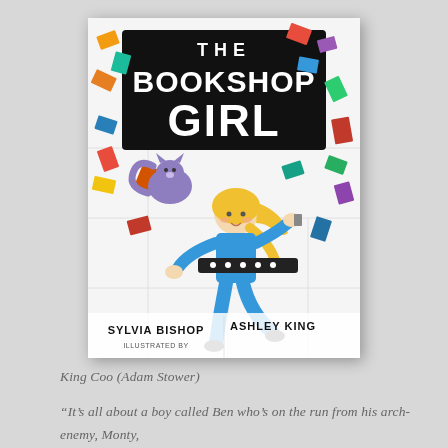[Figure (illustration): Book cover of 'The Bookshop Girl' by Sylvia Bishop, illustrated by Ashley King. Features a cartoon girl with blonde hair in blue outfit surrounded by flying colourful books and a squirrel/cat, on a white background with bookshelf. Title in large black and white bold lettering at top.]
King Coo (Adam Stower)
“It’s all about a boy called Ben who’s on the run from his arch-enemy, Monty,